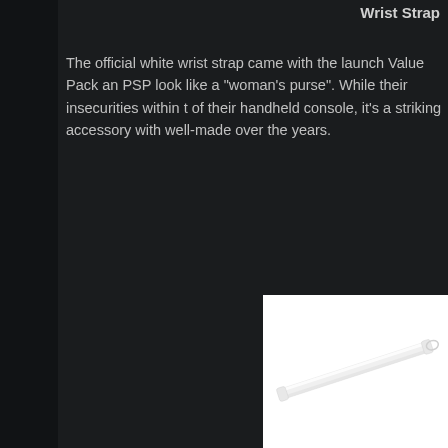Wrist Strap
The official white wrist strap came with the launch Value Pack and PSP look like a “woman’s purse”. While their insecurities within the of their handheld console, it’s a striking accessory with well-made over the years.
[Figure (photo): A white wrist strap accessory for PSP, shown diagonally against a white background]